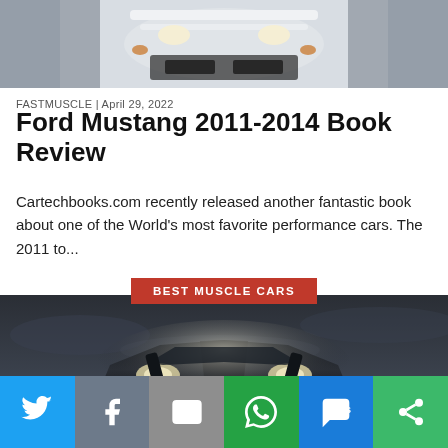[Figure (photo): Top partial view of a white/silver Ford Mustang race car from above/front]
FASTMUSCLE | April 29, 2022
Ford Mustang 2011-2014 Book Review
Cartechbooks.com recently released another fantastic book about one of the World's most favorite performance cars. The 2011 to...
BEST MUSCLE CARS
[Figure (photo): Dark muscle car shot from the front against a dramatic cloudy sky background]
[Figure (other): Social media sharing bar with Twitter, Facebook, Email, WhatsApp, SMS, and More buttons]